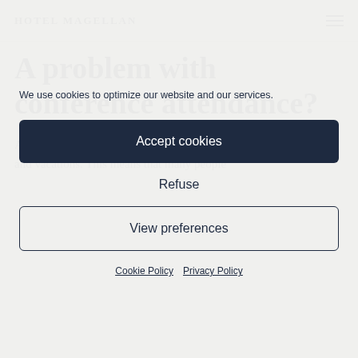HOTEL MAGELLAN
A problem with conference attendance?
As we have already mentioned – summer is the time of vacations and vacations. This means that many people
We use cookies to optimize our website and our services.
Accept cookies
Refuse
View preferences
Cookie Policy   Privacy Policy